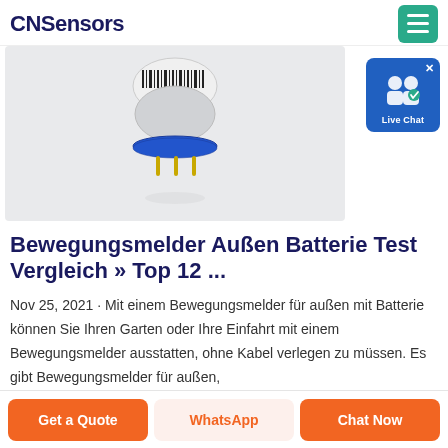CNSensors
[Figure (photo): A small cylindrical sensor component with a barcode label reading 8K01D1-0001, blue ring at base, on a white/grey background]
Bewegungsmelder Außen Batterie Test Vergleich » Top 12 ...
Nov 25, 2021 · Mit einem Bewegungsmelder für außen mit Batterie können Sie Ihren Garten oder Ihre Einfahrt mit einem Bewegungsmelder ausstatten, ohne Kabel verlegen zu müssen. Es gibt Bewegungsmelder für außen,